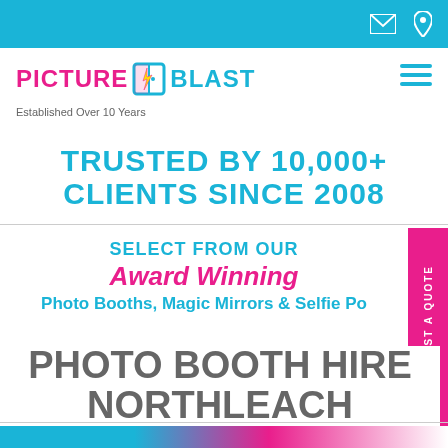Top navigation bar with email and phone icons
[Figure (logo): Picture Blast logo with pink PICTURE text, teal BLAST text, and a door/flash icon in between]
Established Over 10 Years
TRUSTED BY 10,000+ CLIENTS SINCE 2008
SELECT FROM OUR Award Winning Photo Booths, Magic Mirrors & Selfie Po...
PHOTO BOOTH HIRE NORTHLEACH